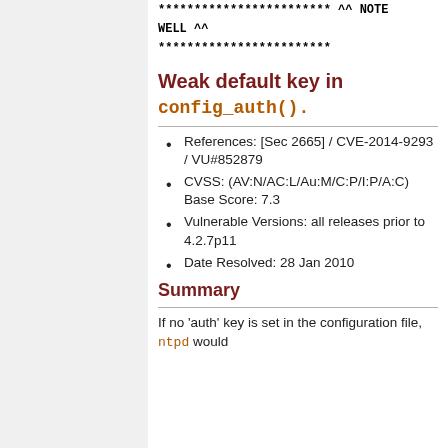************************ ^^ NOTE WELL ^^ ************************
Weak default key in config_auth().
References: [Sec 2665] / CVE-2014-9293 / VU#852879
CVSS: (AV:N/AC:L/Au:M/C:P/I:P/A:C) Base Score: 7.3
Vulnerable Versions: all releases prior to 4.2.7p11
Date Resolved: 28 Jan 2010
Summary
If no 'auth' key is set in the configuration file, ntpd would